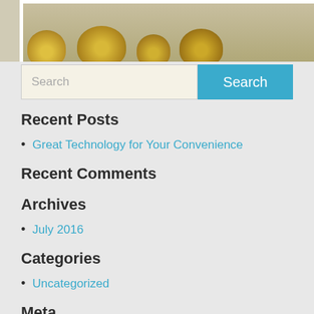[Figure (photo): Partial view of a building exterior with yellow flowering plants/cacti at the bottom, framed with white border]
Search
Recent Posts
Great Technology for Your Convenience
Recent Comments
Archives
July 2016
Categories
Uncategorized
Meta
Log in